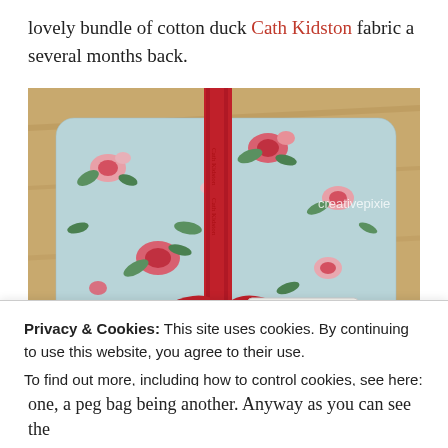lovely bundle of cotton duck Cath Kidston fabric a several months back.
[Figure (photo): A folded bundle of Cath Kidston patchwork fabric in a blue floral rose pattern, tied with a red grosgrain ribbon bow, with a Cath Kidston London tag attached. The bundle sits on a wooden surface. Watermark reads 'creativepixie'.]
Privacy & Cookies: This site uses cookies. By continuing to use this website, you agree to their use.
To find out more, including how to control cookies, see here: Cookie Policy
one, a peg bag being another. Anyway as you can see the